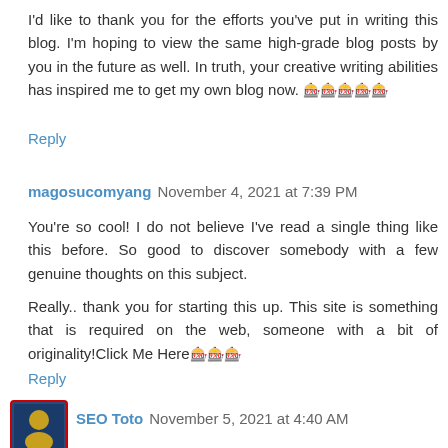I'd like to thank you for the efforts you've put in writing this blog. I'm hoping to view the same high-grade blog posts by you in the future as well. In truth, your creative writing abilities has inspired me to get my own blog now. 🎰🎰🎰🎰🎰
Reply
magosucomyang  November 4, 2021 at 7:39 PM
You're so cool! I do not believe I've read a single thing like this before. So good to discover somebody with a few genuine thoughts on this subject.
Really.. thank you for starting this up. This site is something that is required on the web, someone with a bit of originality!Click Me Here🎰🎰🎰
Reply
SEO Toto  November 5, 2021 at 4:40 AM